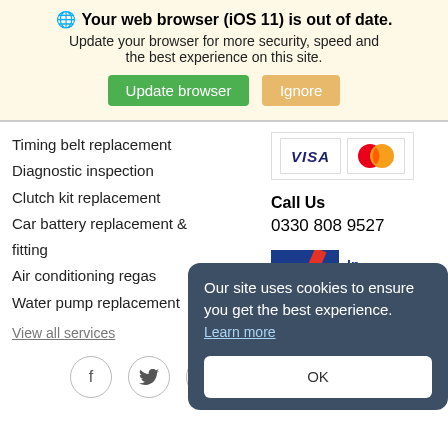🌐 Your web browser (iOS 11) is out of date. Update your browser for more security, speed and the best experience on this site.
Timing belt replacement
Diagnostic inspection
Clutch kit replacement
Car battery replacement & fitting
Air conditioning regas
Water pump replacement
View all services
[Figure (logo): VISA and Mastercard payment logos]
Call Us
0330 808 9527
[Figure (logo): AXA Insurance logo with text: In partnership with AXA™]
Our site uses cookies to ensure you get the best experience. Learn more
OK